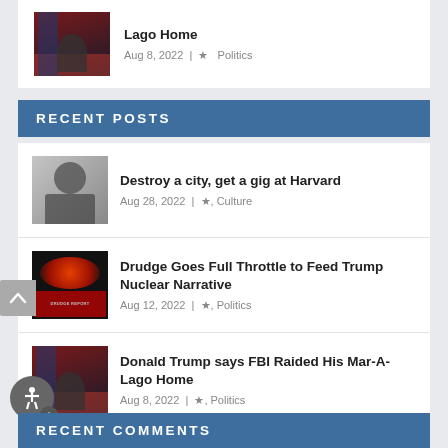Donald Trump says FBI Raided His Mar-A-Lago Home | Aug 8, 2022 | Politics
RECENT POSTS
Destroy a city, get a gig at Harvard | Aug 28, 2022 | ★, Culture
Drudge Goes Full Throttle to Feed Trump Nuclear Narrative | Aug 12, 2022 | ★, Politics
Donald Trump says FBI Raided His Mar-A-Lago Home | Aug 8, 2022 | ★, Politics
RECENT COMMENTS